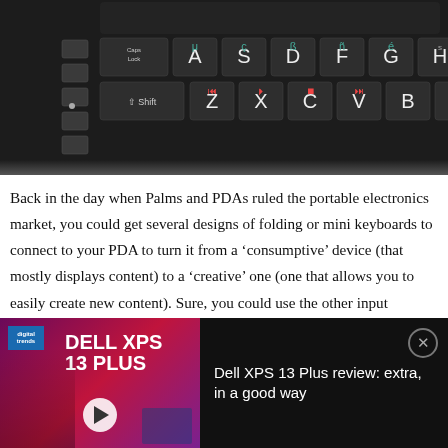[Figure (photo): Close-up photo of a black keyboard showing keys including Caps Lock, Shift, letters A S D F G H J Z X C V B N with special characters and media control keys in red/green]
Back in the day when Palms and PDAs ruled the portable electronics market, you could get several designs of folding or mini keyboards to connect to your PDA to turn it from a ‘consumptive’ device (that mostly displays content) to a ‘creative’ one (one that allows you to easily create new content). Sure, you could use the other input options, but they had their limitations.
[Figure (screenshot): Video player overlay bar showing Dell XPS 13 Plus review thumbnail with a person and the text 'DELL XPS 13 PLUS' on a magenta/purple background, with title 'Dell XPS 13 Plus review: extra, in a good way' on black background and a close button]